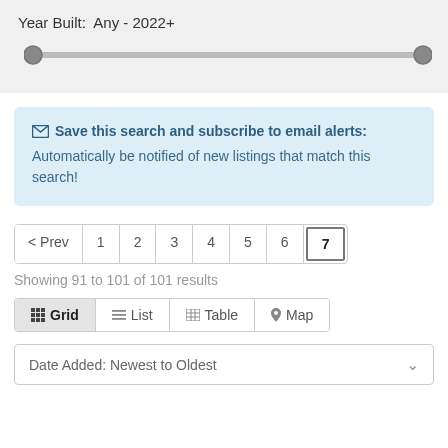Year Built:  Any - 2022+
[Figure (other): Range slider for Year Built filter showing two circular thumbs at each end of a horizontal track. Range is Any to 2022+.]
Save this search and subscribe to email alerts: Automatically be notified of new listings that match this search!
< Prev  1  2  3  4  5  6  7
Showing 91 to 101 of 101 results
Grid  List  Table  Map
Date Added: Newest to Oldest